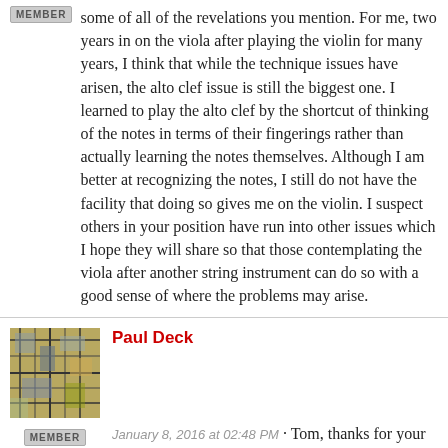some of all of the revelations you mention. For me, two years in on the viola after playing the violin for many years, I think that while the technique issues have arisen, the alto clef issue is still the biggest one. I learned to play the alto clef by the shortcut of thinking of the notes in terms of their fingerings rather than actually learning the notes themselves. Although I am better at recognizing the notes, I still do not have the facility that doing so gives me on the violin. I suspect others in your position have run into other issues which I hope they will share so that those contemplating the viola after another string instrument can do so with a good sense of where the problems may arise.
Paul Deck
January 8, 2016 at 02:48 PM · Tom, thanks for your comment. I also am finding that my alto clef skill is "leveling off" well below where I would like it to be. Part of it is reading the notes, and part of it is finding the notes on the viola, so hopefully the latter will improve and